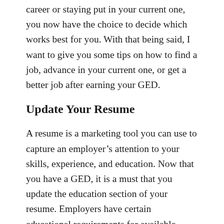career or staying put in your current one, you now have the choice to decide which works best for you. With that being said, I want to give you some tips on how to find a job, advance in your current one, or get a better job after earning your GED.
Update Your Resume
A resume is a marketing tool you can use to capture an employer's attention to your skills, experience, and education. Now that you have a GED, it is a must that you update the education section of your resume. Employers have certain educational requirements for available positions, and most likely is at least to have a